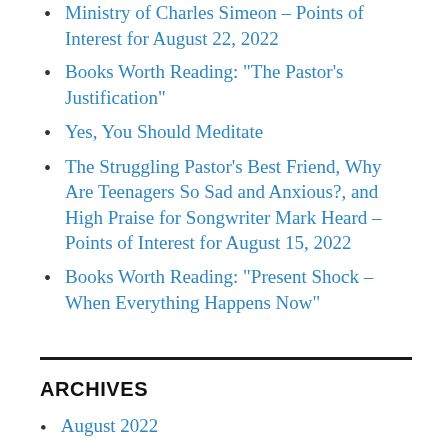Ministry of Charles Simeon – Points of Interest for August 22, 2022
Books Worth Reading: “The Pastor’s Justification”
Yes, You Should Meditate
The Struggling Pastor’s Best Friend, Why Are Teenagers So Sad and Anxious?, and High Praise for Songwriter Mark Heard – Points of Interest for August 15, 2022
Books Worth Reading: “Present Shock – When Everything Happens Now”
ARCHIVES
August 2022